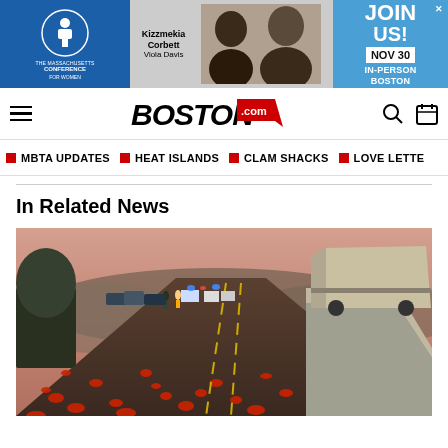[Figure (photo): Advertisement banner for Massachusetts Conference for Women featuring Kizzmekia Corbett and Viola Davis. Join Us! Nov 30 In-Person Boston.]
Boston.com navigation bar with hamburger menu, Boston.com logo, search and calendar icons
MBTA UPDATES
HEAT ISLANDS
CLAM SHACKS
LOVE LETTERS
In Related News
[Figure (photo): Highway covered in spilled tomatoes with overturned truck visible on right side, emergency vehicles with flashing lights in background, hills visible on horizon at dusk]